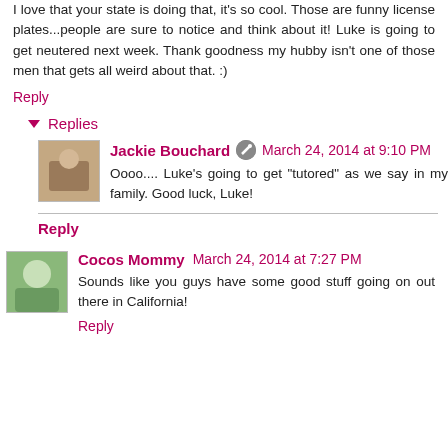I love that your state is doing that, it's so cool. Those are funny license plates...people are sure to notice and think about it! Luke is going to get neutered next week. Thank goodness my hubby isn't one of those men that gets all weird about that. :)
Reply
Replies
Jackie Bouchard
March 24, 2014 at 9:10 PM
Oooo.... Luke's going to get "tutored" as we say in my family. Good luck, Luke!
Reply
Cocos Mommy
March 24, 2014 at 7:27 PM
Sounds like you guys have some good stuff going on out there in California!
Reply